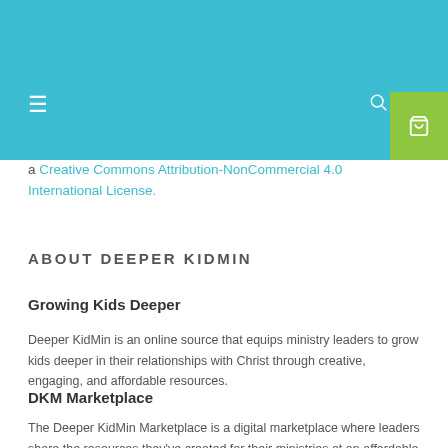Navigation bar with hamburger menu, search, user, and cart icons
a Creative Commons Attribution-NonCommercial 4.0 International License.
ABOUT DEEPER KIDMIN
Growing Kids Deeper
Deeper KidMin is an online source that equips ministry leaders to grow kids deeper in their relationships with Christ through creative, engaging, and affordable resources.
DKM Marketplace
The Deeper KidMin Marketplace is a digital marketplace where leaders share the resources they've created for their ministries at an affordable price that won't break your budget. All of our products are